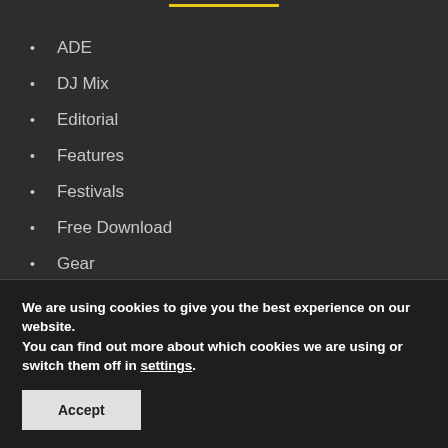ADE
DJ Mix
Editorial
Features
Festivals
Free Download
Gear
Interviews
Music
We are using cookies to give you the best experience on our website. You can find out more about which cookies we are using or switch them off in settings.
Accept